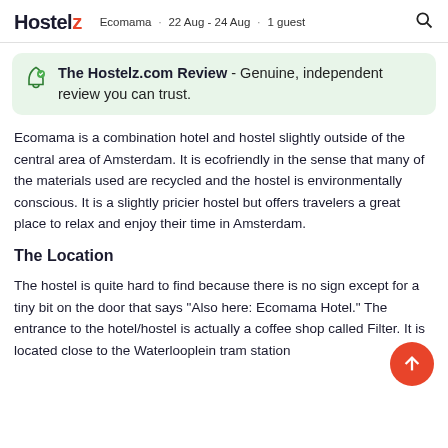Hostelz · Ecomama · 22 Aug - 24 Aug · 1 guest
The Hostelz.com Review - Genuine, independent review you can trust.
Ecomama is a combination hotel and hostel slightly outside of the central area of Amsterdam. It is ecofriendly in the sense that many of the materials used are recycled and the hostel is environmentally conscious. It is a slightly pricier hostel but offers travelers a great place to relax and enjoy their time in Amsterdam.
The Location
The hostel is quite hard to find because there is no sign except for a tiny bit on the door that says "Also here: Ecomama Hotel." The entrance to the hotel/hostel is actually a coffee shop called Filter. It is located close to the Waterlooplein tram station